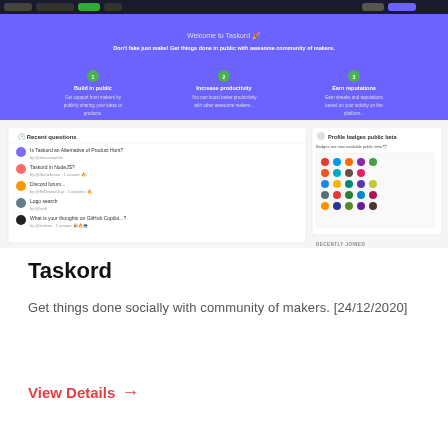[Figure (screenshot): Screenshot of the Taskord web application showing a purple/indigo hero section with 'Welcome to Taskord' headline, three feature columns (Build in public, Increase productivity, Earn reputations), and below it a light-colored dashboard with 'Recent questions', 'Tasks', 'Profile badges public beta', and 'Recently Joined' sections.]
Taskord
Get things done socially with community of makers. [24/12/2020]
View Details →